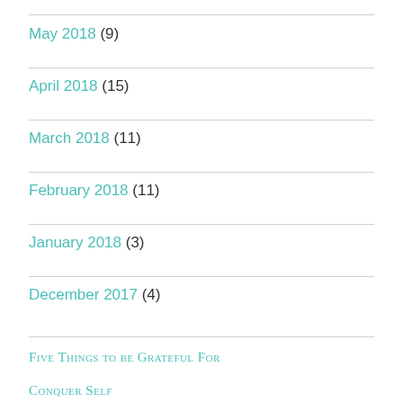May 2018 (9)
April 2018 (15)
March 2018 (11)
February 2018 (11)
January 2018 (3)
December 2017 (4)
Five Things to be Grateful For
Conquer Self